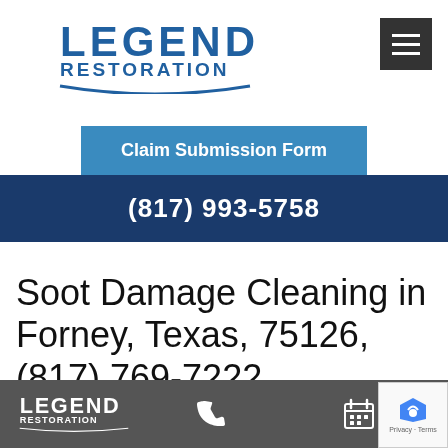[Figure (logo): Legend Restoration logo — blue bold text 'LEGEND' above 'RESTORATION' with a blue arc underline]
[Figure (other): Dark grey hamburger menu button with three white horizontal lines]
Claim Submission Form
(817) 993-5758
Soot Damage Cleaning in Forney, Texas, 75126, (817) 769-7222
[Figure (logo): Legend Restoration small logo in bottom bar]
[Figure (other): Phone icon in bottom navigation bar]
[Figure (other): Calendar/grid icon in bottom navigation bar]
[Figure (other): Google reCAPTCHA badge bottom right]